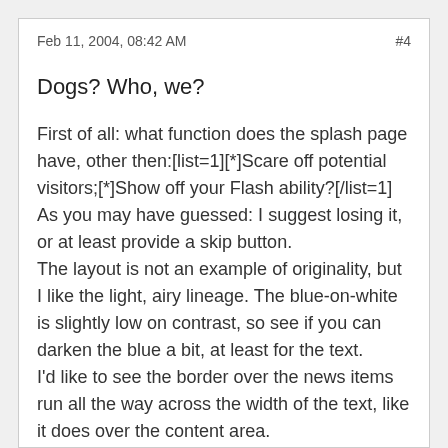Feb 11, 2004, 08:42 AM    #4
Dogs? Who, we?
First of all: what function does the splash page have, other then:[list=1][*]Scare off potential visitors;[*]Show off your Flash ability?[/list=1]
As you may have guessed: I suggest losing it, or at least provide a skip button.
The layout is not an example of originality, but I like the light, airy lineage. The blue-on-white is slightly low on contrast, so see if you can darken the blue a bit, at least for the text.
I'd like to see the border over the news items run all the way across the width of the text, like it does over the content area.
You might want to add some padding around the outside to free the page from the window frame a bit; also, I'm a